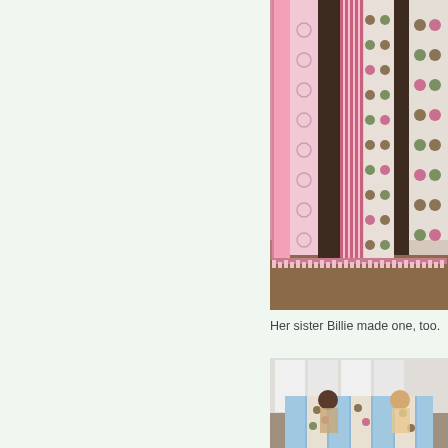[Figure (photo): A colorful patchwork quilt displayed vertically against a wall, showing strips of pink, brown, and polka-dotted fabric with a decorative edging.]
Her sister Billie made one, too.
[Figure (photo): Two children sitting or looking at a blue and brown patchwork quilt with polka dot fabric panels.]